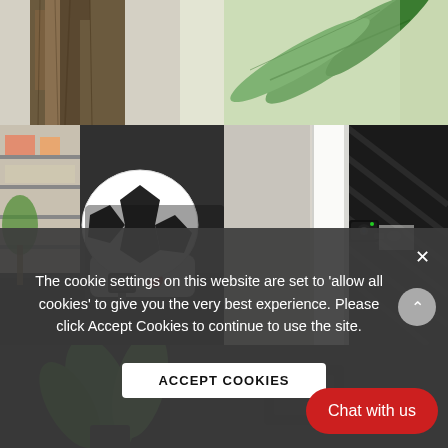[Figure (photo): Top photo showing tree trunk bark texture and green leaves against light background]
[Figure (photo): Middle-left photo showing a soccer ball shaped robot/device with a small action camera mounted on suction cup base, on a black surface in interior room]
[Figure (photo): Middle-right photo showing a small action camera mounted on suction cup on a white door frame/wall corner, dark curtain visible]
[Figure (photo): Bottom-left photo showing green plant leaves on dark background]
[Figure (photo): Bottom-right photo showing dark background with some object]
The cookie settings on this website are set to 'allow all cookies' to give you the very best experience. Please click Accept Cookies to continue to use the site.
ACCEPT COOKIES
Chat with us